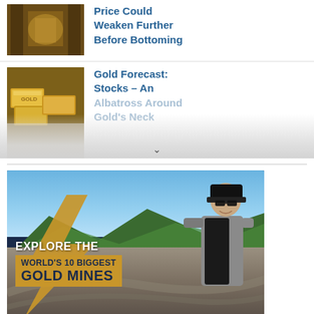[Figure (photo): Thumbnail image of a mine/gold tunnel corridor]
Price Could Weaken Further Before Bottoming
[Figure (photo): Thumbnail image of gold bars stacked]
Gold Forecast: Stocks – An Albatross Around Gold's Neck
[Figure (photo): Promotional banner image: man standing outdoors at a mine site with text overlay 'EXPLORE THE WORLD'S 10 BIGGEST GOLD MINES']